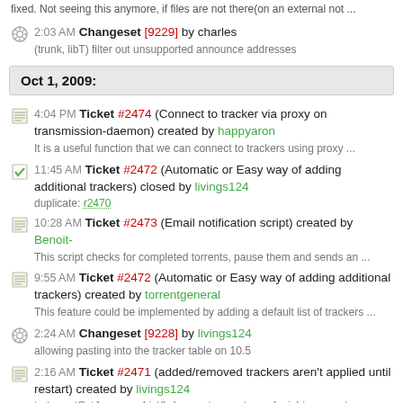fixed. Not seeing this anymore, if files are not there(on an external not ...
2:03 AM Changeset [9229] by charles
(trunk, libT) filter out unsupported announce addresses
Oct 1, 2009:
4:04 PM Ticket #2474 (Connect to tracker via proxy on transmission-daemon) created by happyaron
It is a useful function that we can connect to trackers using proxy ...
11:45 AM Ticket #2472 (Automatic or Easy way of adding additional trackers) closed by livings124
duplicate: r2470
10:28 AM Ticket #2473 (Email notification script) created by Benoit-
This script checks for completed torrents, pause them and sends an ...
9:55 AM Ticket #2472 (Automatic or Easy way of adding additional trackers) created by torrentgeneral
This feature could be implemented by adding a default list of trackers ...
2:24 AM Changeset [9228] by livings124
allowing pasting into the tracker table on 10.5
2:16 AM Ticket #2471 (added/removed trackers aren't applied until restart) created by livings124
tr_torrentSetAnnounceList() does not seem to apply right away, at ...
1:45 AM Ticket #2470 (Pasting an address (as list of addresses) into ...